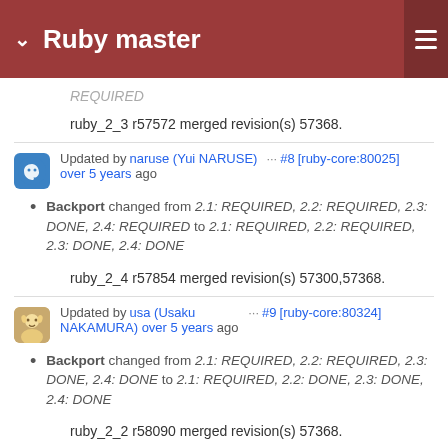Ruby master
REQUIRED
ruby_2_3 r57572 merged revision(s) 57368.
Updated by naruse (Yui NARUSE) ··· #8 [ruby-core:80025] over 5 years ago
Backport changed from 2.1: REQUIRED, 2.2: REQUIRED, 2.3: DONE, 2.4: REQUIRED to 2.1: REQUIRED, 2.2: REQUIRED, 2.3: DONE, 2.4: DONE
ruby_2_4 r57854 merged revision(s) 57300,57368.
Updated by usa (Usaku NAKAMURA) over 5 years ago ··· #9 [ruby-core:80324]
Backport changed from 2.1: REQUIRED, 2.2: REQUIRED, 2.3: DONE, 2.4: DONE to 2.1: REQUIRED, 2.2: DONE, 2.3: DONE, 2.4: DONE
ruby_2_2 r58090 merged revision(s) 57368.